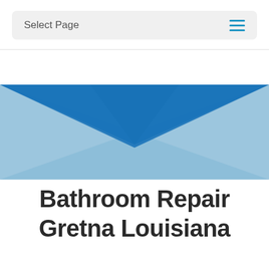Select Page
[Figure (illustration): Decorative X-shaped graphic made of crossing blue triangular shapes — lighter blue on left and right, darker blue in the center overlap area, on a white background.]
Bathroom Repair Gretna Louisiana